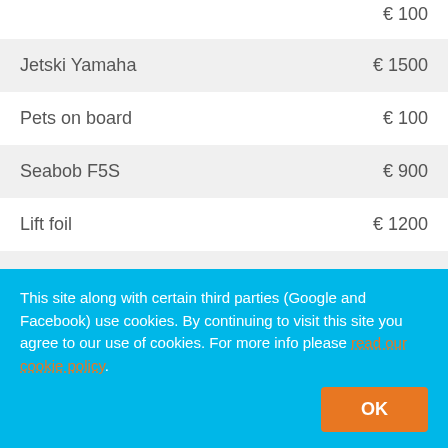| Item | Price |
| --- | --- |
| Jetski Yamaha | € 1500 |
| Pets on board | € 100 |
| Seabob F5S | € 900 |
| Lift foil | € 1200 |
| Seadoo | € 750 |
| Hostes 50ft+ | € 150 |
| Hostes 49ft- | € 150 |
| Safety Net: | € 50 |
This site along with certain third parties (Google and Facebook) use cookies. By continuing to visit this site you agree to our use of cookies. For more info please read our cookie policy.